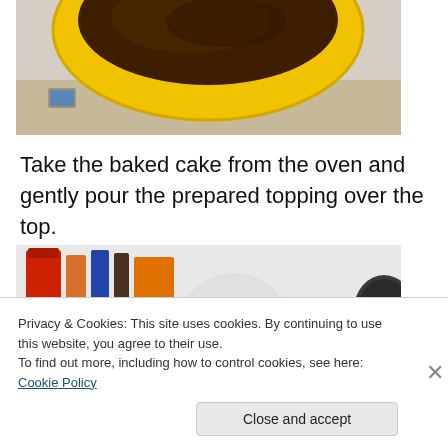[Figure (photo): Partial photo of a yellow bowl with dark batter/mixture, taken from above, with kitchen counter visible in background]
Take the baked cake from the oven and gently pour the prepared topping over the top.
[Figure (photo): Photo of a baked golden-brown cake in a glass baking dish on a white electric stove top, with kitchen items visible in background]
Privacy & Cookies: This site uses cookies. By continuing to use this website, you agree to their use.
To find out more, including how to control cookies, see here: Cookie Policy
Close and accept